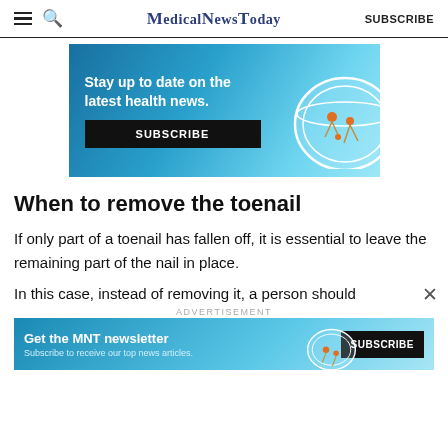MedicalNewsToday SUBSCRIBE
[Figure (illustration): Advertisement banner with teal/blue gradient background showing a petri dish illustration. Text: 'Stay up to date on the latest health news.' with a black SUBSCRIBE button.]
When to remove the toenail
If only part of a toenail has fallen off, it is essential to leave the remaining part of the nail in place.
In this case, instead of removing it, a person should
[Figure (illustration): Bottom advertisement banner: 'Get the MNT newsletter - Subscribe to receive our top news articles.' with a black SUBSCRIBE button and petri dish illustration.]